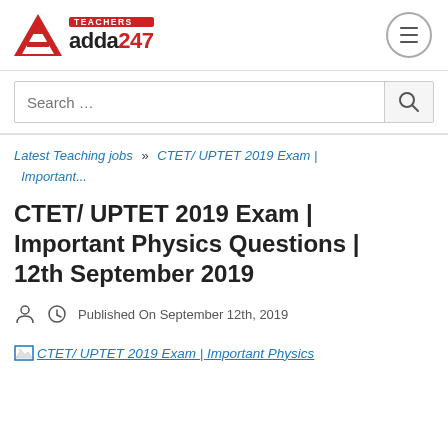[Figure (logo): Teachers Adda247 logo with red triangle A icon and red TEACHERS badge above adda247 text]
Search ...
Latest Teaching jobs » CTET/ UPTET 2019 Exam | Important...
CTET/ UPTET 2019 Exam | Important Physics Questions | 12th September 2019
Published On September 12th, 2019
[Figure (screenshot): Broken image placeholder link: CTET/ UPTET 2019 Exam | Important Physics]